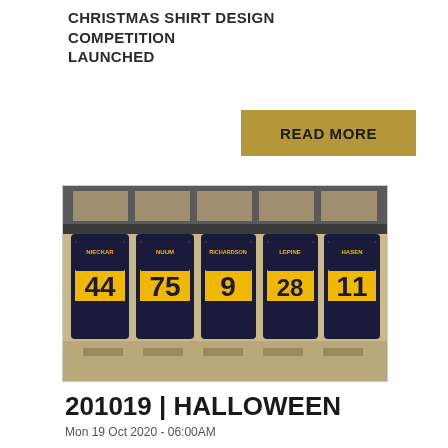CHRISTMAS SHIRT DESIGN COMPETITION LAUNCHED
READ MORE
[Figure (photo): Hockey jerseys hanging in a locker room. Five jerseys visible with names and numbers: NIECKAR 44, NUUM 75, RICHARDSON 9, LEPINE 28, HASEN 11. Jerseys are black and yellow/gold with bat designs.]
201019 | HALLOWEEN
Mon 19 Oct 2020 - 06:00AM